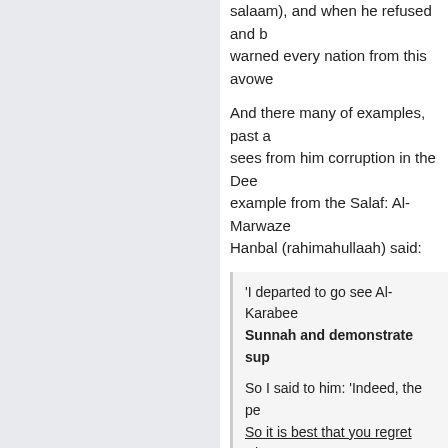salaam), and when he refused and b... warned every nation from this avowe...
And there many of examples, past a... sees from him corruption in the Dee... example from the Salaf: Al-Marwaze... Hanbal (rahimahullaah) said:
'I departed to go see Al-Karabee... Sunnah and demonstrate sup...
So I said to him: 'Indeed, the pe... So it is best that you regret wha...
So he said to me: 'Indeed, Abu '... attain the truth. And I am very pl... have already asked me to destr... it!'
So he persisted in that and he r... (Imaam Ahmad), while he was u... support in favour of al-Hasan Ib... views of the Khawaarii, then thi...